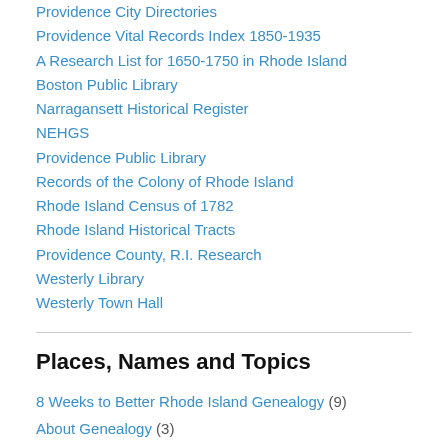Providence City Directories
Providence Vital Records Index 1850-1935
A Research List for 1650-1750 in Rhode Island
Boston Public Library
Narragansett Historical Register
NEHGS
Providence Public Library
Records of the Colony of Rhode Island
Rhode Island Census of 1782
Rhode Island Historical Tracts
Providence County, R.I. Research
Westerly Library
Westerly Town Hall
Places, Names and Topics
8 Weeks to Better Rhode Island Genealogy (9)
About Genealogy (3)
Anderson (5)